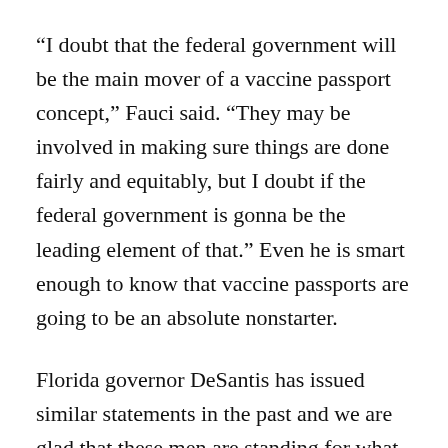“I doubt that the federal government will be the main mover of a vaccine passport concept,” Fauci said. “They may be involved in making sure things are done fairly and equitably, but I doubt if the federal government is gonna be the leading element of that.” Even he is smart enough to know that vaccine passports are going to be an absolute nonstarter.
Florida governor DeSantis has issued similar statements in the past and we are glad that these men are standing for what is right. The liberals may believe that they can throw their weight around but nothing is further from the truth. Kudos to DeSantis and Abbott...